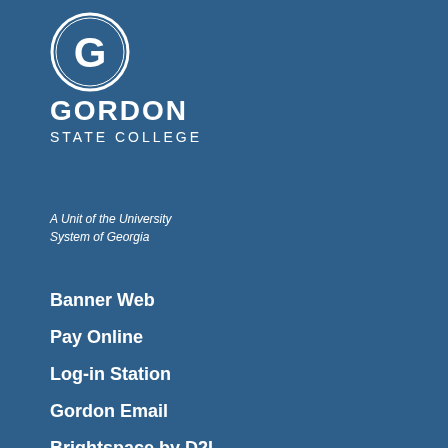[Figure (logo): Gordon State College logo: a white circle with the letter G inside, followed by the text GORDON STATE COLLEGE in white on a dark blue background]
A Unit of the University System of Georgia
Banner Web
Pay Online
Log-in Station
Gordon Email
Brightspace by D2L
Library
Departments
Campus Map
Contact GSC